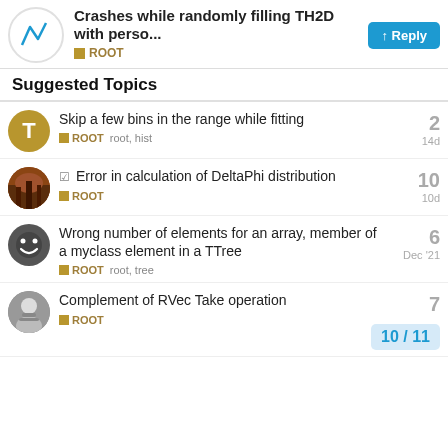Crashes while randomly filling TH2D with perso... ROOT
Suggested Topics
Skip a few bins in the range while fitting
ROOT  root, hist
14d
Replies: 2
Error in calculation of DeltaPhi distribution
ROOT
10d
Replies: 10
Wrong number of elements for an array, member of a myclass element in a TTree
ROOT  root, tree
Dec '21
Replies: 6
Complement of RVec Take operation
ROOT
Replies: 7
10 / 11